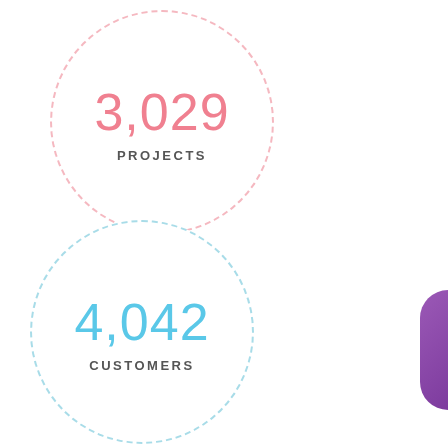[Figure (infographic): A circular stat badge with a dashed pink border showing the number 3,029 in pink and the label PROJECTS in dark gray below]
[Figure (infographic): A circular stat badge with a dashed light blue border showing the number 4,042 in light blue and the label CUSTOMERS in dark gray below]